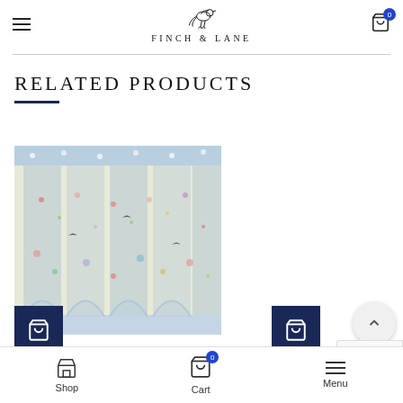FINCH & LANE
RELATED PRODUCTS
[Figure (photo): A decorative floral rug with blue, pink, green and cream colors featuring birds and botanical patterns]
Shop  Cart  Menu